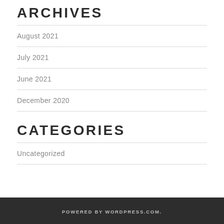ARCHIVES
August 2021
July 2021
June 2021
December 2020
CATEGORIES
Uncategorized
POWERED BY WORDPRESS.COM.